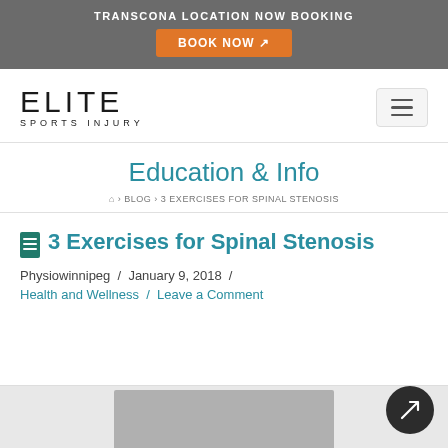TRANSCONA LOCATION NOW BOOKING
[Figure (other): Orange 'BOOK NOW' button with external link icon]
[Figure (logo): Elite Sports Injury logo with hamburger menu icon]
Education & Info
🏠 › BLOG › 3 EXERCISES FOR SPINAL STENOSIS
3 Exercises for Spinal Stenosis
Physiowinnipeg / January 9, 2018 / Health and Wellness / Leave a Comment
[Figure (photo): Partial photo of a person at the bottom of the page]